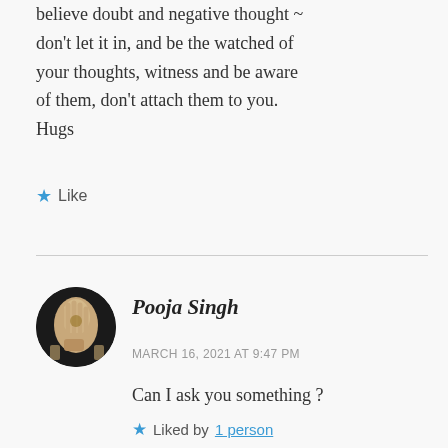believe doubt and negative thought ~ don't let it in, and be the watched of your thoughts, witness and be aware of them, don't attach them to you. Hugs
★ Like
Pooja Singh
MARCH 16, 2021 AT 9:47 PM
Can I ask you something ?
★ Liked by 1 person